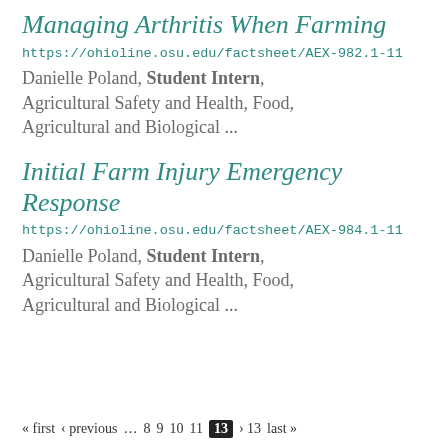Managing Arthritis When Farming
https://ohioline.osu.edu/factsheet/AEX-982.1-11
Danielle Poland, Student Intern, Agricultural Safety and Health, Food, Agricultural and Biological ...
Initial Farm Injury Emergency Response
https://ohioline.osu.edu/factsheet/AEX-984.1-11
Danielle Poland, Student Intern, Agricultural Safety and Health, Food, Agricultural and Biological ...
« first ‹ previous … 8 9 10 11 13 › 13 last »